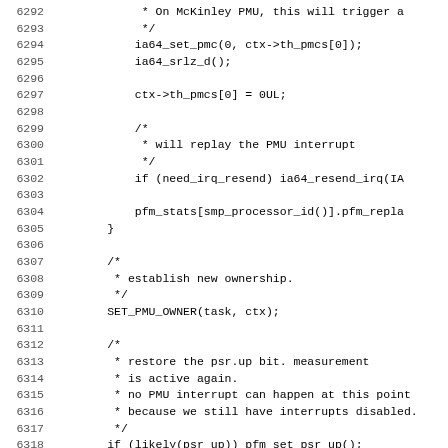[Figure (screenshot): Source code listing in monospace font showing C code lines 6292-6323, with line numbers on the left and code on the right. The code involves PMU interrupt handling, ownership setting, and PSR bit restoration.]